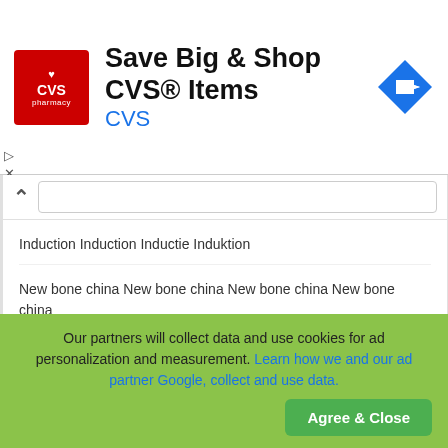[Figure (screenshot): CVS Pharmacy advertisement banner with red logo, bold text 'Save Big & Shop CVS® Items', blue 'CVS' subtitle, and a blue diamond-shaped arrow navigation icon on the right.]
Induction Induction Inductie Induktion
New bone china New bone china New bone china New bone china
Mass printing Décor dans la masse Decor in de massa Dekor in die Masse
Metal Métal Metaal Metall
Silicone Silicone Silicone Silikon
Dishwasher safe Résistant au lave-vaisselle
Our partners will collect data and use cookies for ad personalization and measurement. Learn how we and our ad partner Google, collect and use data.